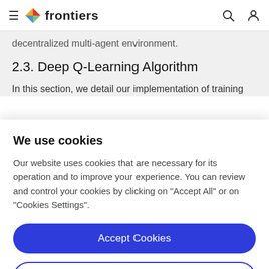frontiers
decentralized multi-agent environment.
2.3. Deep Q-Learning Algorithm
In this section, we detail our implementation of training
We use cookies
Our website uses cookies that are necessary for its operation and to improve your experience. You can review and control your cookies by clicking on "Accept All" or on "Cookies Settings".
Accept Cookies
Cookies Settings